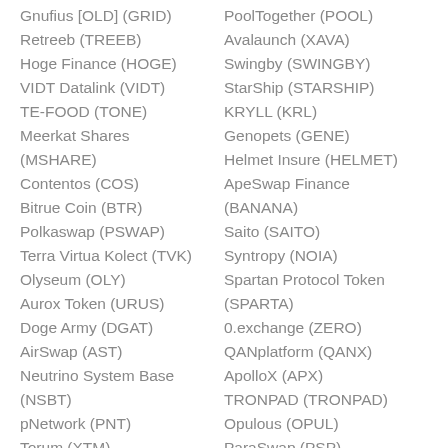Gnufius [OLD] (GRID)
Retreeb (TREEB)
Hoge Finance (HOGE)
VIDT Datalink (VIDT)
TE-FOOD (TONE)
Meerkat Shares (MSHARE)
Contentos (COS)
Bitrue Coin (BTR)
Polkaswap (PSWAP)
Terra Virtua Kolect (TVK)
Olyseum (OLY)
Aurox Token (URUS)
Doge Army (DGAT)
AirSwap (AST)
Neutrino System Base (NSBT)
pNetwork (PNT)
Torum (XTM)
PoolTogether (POOL)
Avalaunch (XAVA)
Swingby (SWINGBY)
StarShip (STARSHIP)
KRYLL (KRL)
Genopets (GENE)
Helmet Insure (HELMET)
ApeSwap Finance (BANANA)
Saito (SAITO)
Syntropy (NOIA)
Spartan Protocol Token (SPARTA)
0.exchange (ZERO)
QANplatform (QANX)
ApolloX (APX)
TRONPAD (TRONPAD)
Opulous (OPUL)
ParaSwap (PSP)